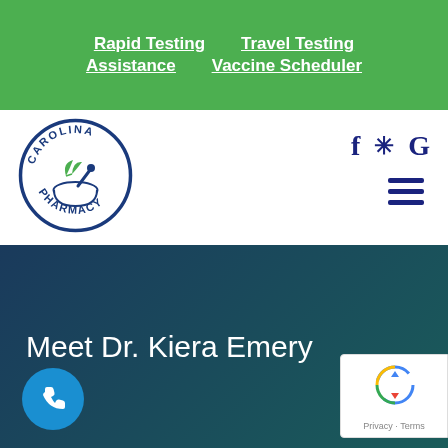Rapid Testing   Travel Testing   Assistance   Vaccine Scheduler
[Figure (logo): Carolina Pharmacy circular logo with mortar and pestle and leaf design]
[Figure (infographic): Social media icons: Facebook (f), Yelp (*), Google (G) in dark navy blue]
[Figure (infographic): Hamburger menu icon (three horizontal lines) in dark navy blue]
Meet Dr. Kiera Emery
[Figure (infographic): Blue circular phone call button at bottom left]
[Figure (infographic): Google reCAPTCHA badge at bottom right showing Privacy - Terms]